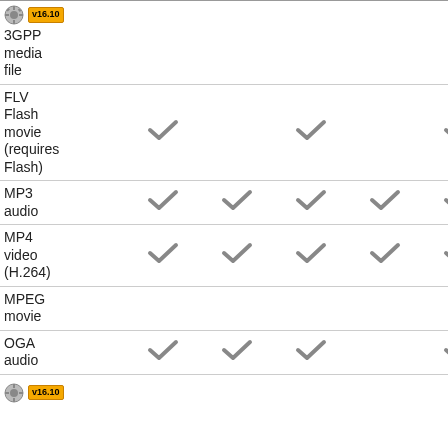| Format | Col2 | Col3 | Col4 | Col5 | Col6 |
| --- | --- | --- | --- | --- | --- |
| 3GPP media file (v16.10) |  |  |  |  |  |
| FLV Flash movie (requires Flash) | ✓ |  | ✓ |  | ✓ |
| MP3 audio | ✓ | ✓ | ✓ | ✓ | ✓ |
| MP4 video (H.264) | ✓ | ✓ | ✓ | ✓ | ✓ |
| MPEG movie |  |  |  |  |  |
| OGA audio | ✓ | ✓ | ✓ |  | ✓ |
| (v16.10) |  |  |  |  |  |